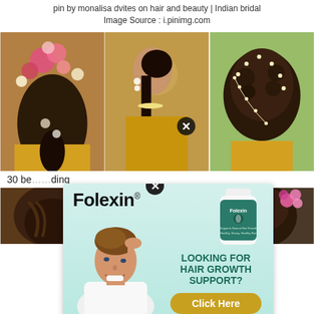pin by monalisa dvites on hair and beauty | Indian bridal
Image Source : i.pinimg.com
[Figure (photo): Three Indian bridal hairstyle photos side by side: left shows woman with flowers in hair, center shows Indian bride in profile with jewelry, right shows updo with pins]
30 be...ding
[Figure (infographic): Folexin advertisement overlay with man touching his hair, Folexin supplement bottle, brand name Folexin with registered trademark, text LOOKING FOR HAIR GROWTH SUPPORT?, Click Here button, close X button]
[Figure (photo): Bottom row partial photos of Indian bridal hairstyles]